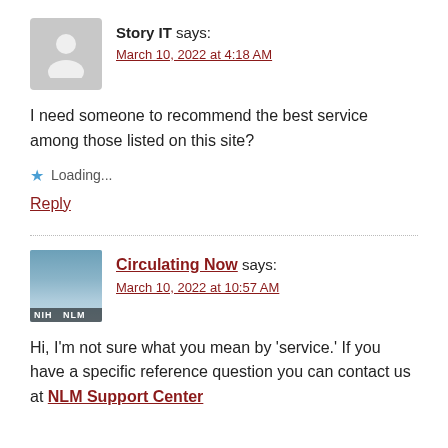Story IT says:
March 10, 2022 at 4:18 AM
I need someone to recommend the best service among those listed on this site?
Loading...
Reply
Circulating Now says:
March 10, 2022 at 10:57 AM
Hi, I'm not sure what you mean by 'service.' If you have a specific reference question you can contact us at NLM Support Center